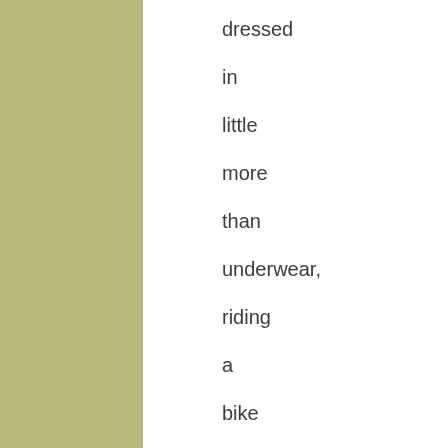dressed in little more than underwear, riding a bike weighing 17 pounds. And the only thing between me and disaster was a